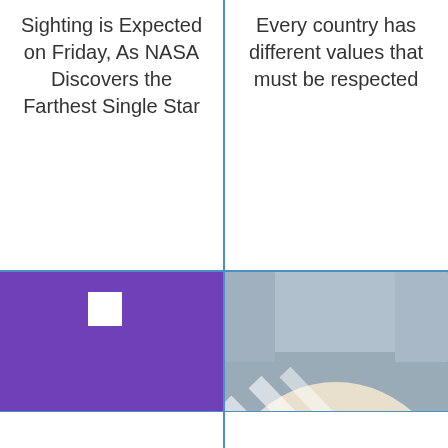Sighting is Expected on Friday, As NASA Discovers the Farthest Single Star
Every country has different values that must be respected
[Figure (logo): STC logo on purple background with white letters 'stc' and text 'How to Check STC Balance' overlaid]
How to Check STC Balance
[Figure (photo): Aerial view of military vehicles and tanks arranged in a large arena or exhibition hall for the World Defense Show]
World Defense Show Closes; Contracts Worth SR29.7bn Signed